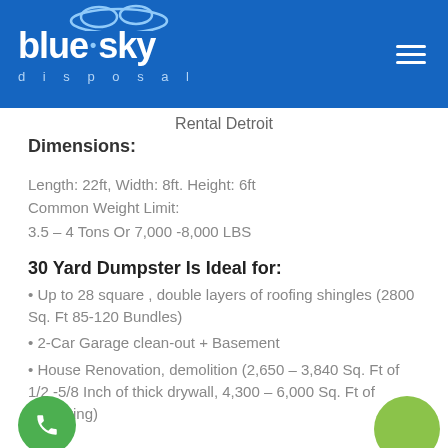blue sky disposal
Rental Detroit
Dimensions:
Length: 22ft, Width: 8ft. Height: 6ft
Common Weight Limit:
3.5 – 4 Tons Or 7,000 -8,000 LBS
30 Yard Dumpster Is Ideal for:
Up to 28 square , double layers of roofing shingles (2800 Sq. Ft 85-120 Bundles)
2-Car Garage clean-out + Basement
House Renovation, demolition (2,650 – 3,840 Sq. Ft of 1/2 -5/8 Inch of thick drywall, 4,300 – 6,000 Sq. Ft of Carpeting)